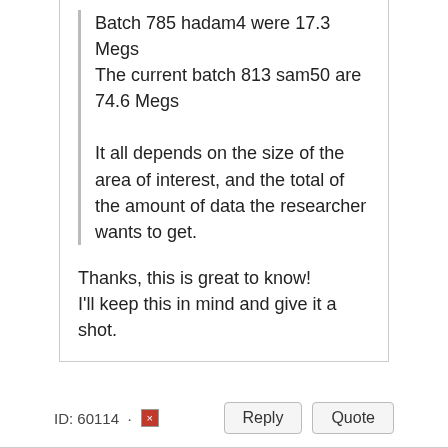Batch 785 hadam4 were 17.3 Megs
The current batch 813 sam50 are 74.6 Megs
It all depends on the size of the area of interest, and the total of the amount of data the researcher wants to get.
Thanks, this is great to know! I'll keep this in mind and give it a shot.
ID: 60114 · Reply Quote